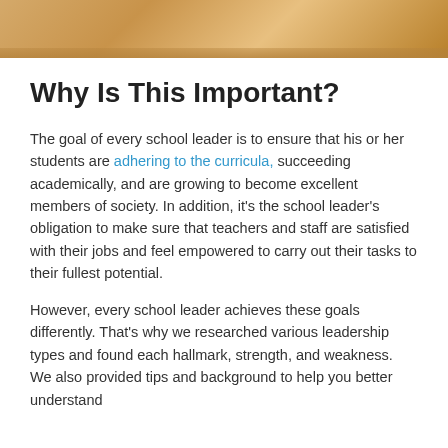[Figure (photo): Partial photo strip at top of page showing warm golden/brown tones, likely a classroom or school setting.]
Why Is This Important?
The goal of every school leader is to ensure that his or her students are adhering to the curricula, succeeding academically, and are growing to become excellent members of society. In addition, it's the school leader's obligation to make sure that teachers and staff are satisfied with their jobs and feel empowered to carry out their tasks to their fullest potential.
However, every school leader achieves these goals differently. That's why we researched various leadership types and found each hallmark, strength, and weakness. We also provided tips and background to help you better understand yourself and how you can put that into practice.